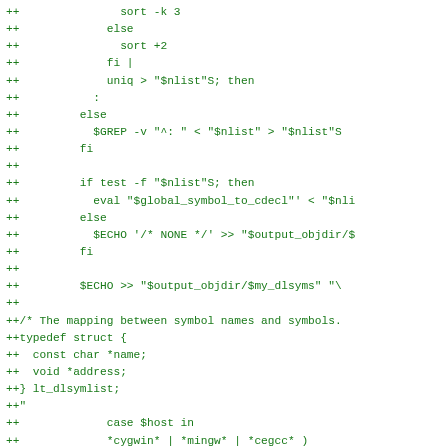++               sort -k 3
++             else
++               sort +2
++             fi |
++             uniq > "$nlist"S; then
++           :
++         else
++           $GREP -v "^: " < "$nlist" > "$nlist"S
++         fi
++
++         if test -f "$nlist"S; then
++           eval "$global_symbol_to_cdecl"' < "$nli
++         else
++           $ECHO '/* NONE */' >> "$output_objdir/$
++         fi
++
++         $ECHO >> "$output_objdir/$my_dlsyms" "\
++
++/* The mapping between symbol names and symbols.
++typedef struct {
++  const char *name;
++  void *address;
++} lt_dlsymlist;
++"
++             case $host in
++             *cygwin* | *mingw* | *cegcc* )
++               $ECHO >> "$output_objdir/$my_dlsyms" "\
++/* DATA imports from DLLs on WIN32 con't be const
++   runtime relocations are performed -- see ld's
++   on pseudo-relocs.  */"
++               lt_dlsym_const ++